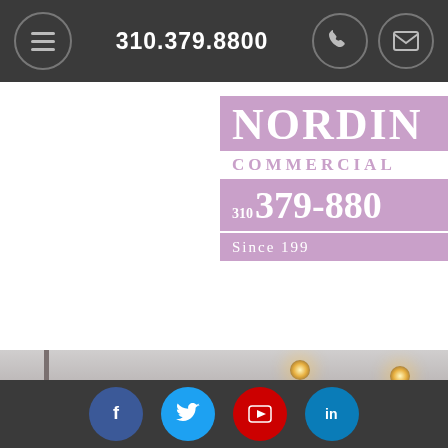310.379.8800
[Figure (logo): Nordine Commercial logo with purple/lavender background, showing company name, 'COMMERCIAL', phone number 310 379-8800, and 'Since 199...']
[Figure (photo): Interior commercial space with recessed ceiling lights, grey walls and ceiling]
Social media icons: Facebook, Twitter, YouTube, LinkedIn